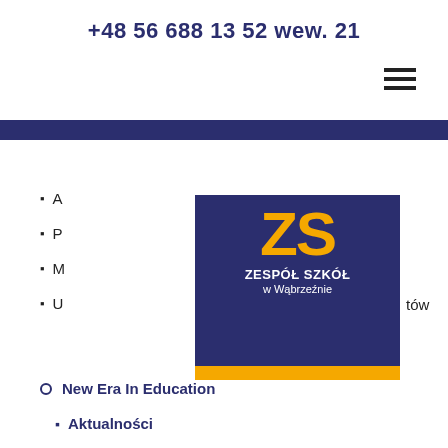+48 56 688 13 52 wew. 21
[Figure (other): Hamburger menu icon (three horizontal lines)]
[Figure (logo): ZS Zespół Szkół w Wąbrzeźnie logo — dark blue rectangle with orange ZS letters and white text below]
A
P
M
U
New Era In Education
Aktualności